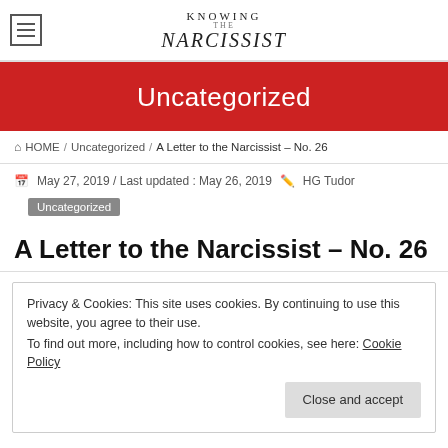KNOWING THE NARCISSIST
Uncategorized
HOME / Uncategorized / A Letter to the Narcissist – No. 26
May 27, 2019 / Last updated : May 26, 2019  HG Tudor
Uncategorized
A Letter to the Narcissist – No. 26
Privacy & Cookies: This site uses cookies. By continuing to use this website, you agree to their use.
To find out more, including how to control cookies, see here: Cookie Policy
Close and accept